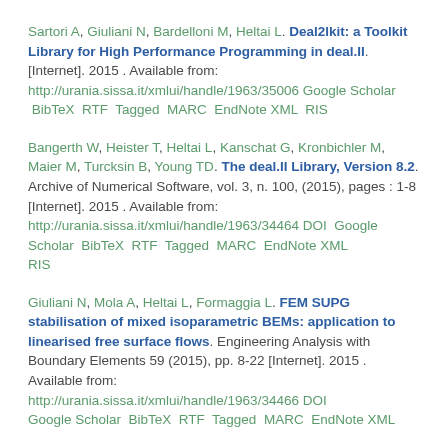Sartori A, Giuliani N, Bardelloni M, Heltai L. Deal2lkit: a Toolkit Library for High Performance Programming in deal.II. [Internet]. 2015 . Available from: http://urania.sissa.it/xmlui/handle/1963/35006 Google Scholar BibTeX RTF Tagged MARC EndNote XML RIS
Bangerth W, Heister T, Heltai L, Kanschat G, Kronbichler M, Maier M, Turcksin B, Young TD. The deal.II Library, Version 8.2. Archive of Numerical Software, vol. 3, n. 100, (2015), pages : 1-8 [Internet]. 2015 . Available from: http://urania.sissa.it/xmlui/handle/1963/34464 DOI Google Scholar BibTeX RTF Tagged MARC EndNote XML RIS
Giuliani N, Mola A, Heltai L, Formaggia L. FEM SUPG stabilisation of mixed isoparametric BEMs: application to linearised free surface flows. Engineering Analysis with Boundary Elements 59 (2015), pp. 8-22 [Internet]. 2015 . Available from: http://urania.sissa.it/xmlui/handle/1963/34466 DOI Google Scholar BibTeX RTF Tagged MARC EndNote XML